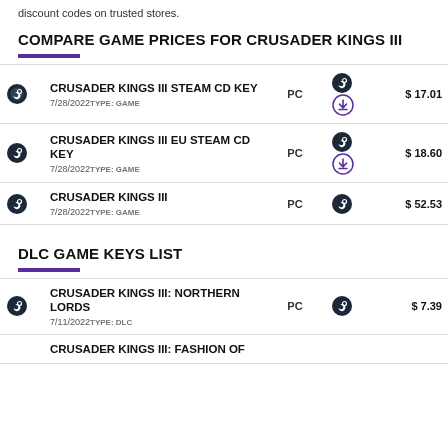discount codes on trusted stores.
COMPARE GAME PRICES FOR CRUSADER KINGS III
|  | Title / Date / Type | Platform | Icons | Price |
| --- | --- | --- | --- | --- |
|  | CRUSADER KINGS III STEAM CD KEY
7/28/2022 TYPE: GAME | PC | Steam + Download | $ 17.01 |
|  | CRUSADER KINGS III EU STEAM CD KEY
7/28/2022 TYPE: GAME | PC | Steam + Download | $ 18.60 |
|  | CRUSADER KINGS III
7/28/2022 TYPE: GAME | PC | Steam | $ 52.53 |
DLC GAME KEYS LIST
|  | Title / Date / Type | Platform | Icons | Price |
| --- | --- | --- | --- | --- |
|  | CRUSADER KINGS III: NORTHERN LORDS
7/11/2022 TYPE: DLC | PC | Steam | $ 7.39 |
|  | CRUSADER KINGS III: FASHION OF... | PC |  |  |